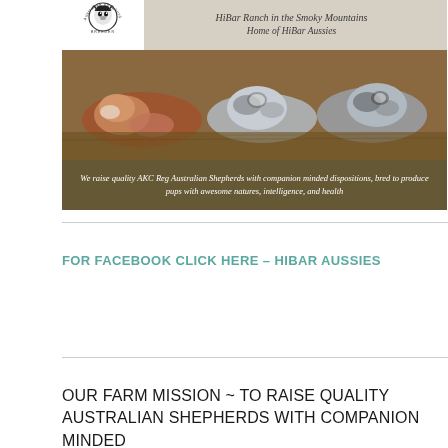[Figure (photo): Banner image for HiBar Ranch in the Smoky Mountains showing Australian Shepherd puppies lying down, with a logo in the top-left corner, header text 'HiBar Ranch in the Smoky Mountains / Home of HiBar Aussies', and a caption bar reading 'We raise quality AKC Reg Australian Shepherds with companion minded dispositions, bred to produce pups with awesome natures, intelligence, and health']
FOR FACEBOOK CLICK HERE – HIBAR AUSSIES
OUR FARM MISSION ~ TO RAISE QUALITY AUSTRALIAN SHEPHERDS WITH COMPANION MINDED